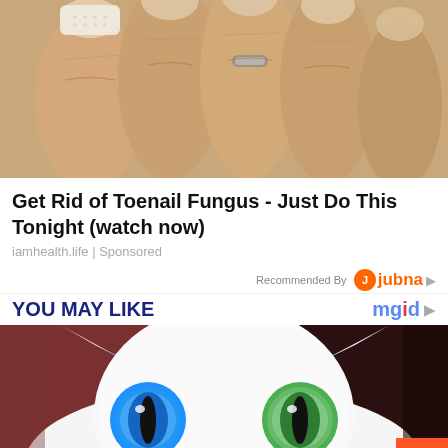[Figure (photo): Close-up photo of human toes/fingers with what appears to be a bandage or cream on one nail, showing skin texture]
Get Rid of Toenail Fungus - Just Do This Tonight (watch now)
iamhealth.life | Sponsored
Recommended By Jubna
YOU MAY LIKE  mgid
[Figure (photo): Close-up photo of a white cat with heterochromia - one blue eye and one green eye, looking directly at camera]